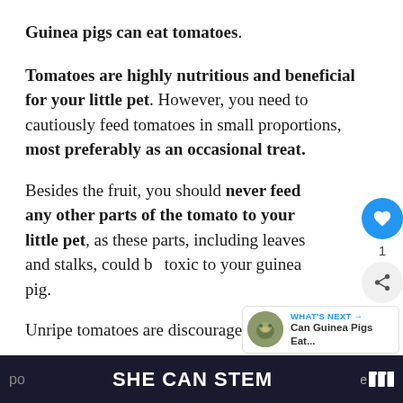Guinea pigs can eat tomatoes.
Tomatoes are highly nutritious and beneficial for your little pet. However, you need to cautiously feed tomatoes in small proportions, most preferably as an occasional treat.
Besides the fruit, you should never feed any other parts of the tomato to your little pet, as these parts, including leaves and stalks, could be toxic to your guinea pig.
Unripe tomatoes are discouraged too. They are
po   SHE CAN STEM   e